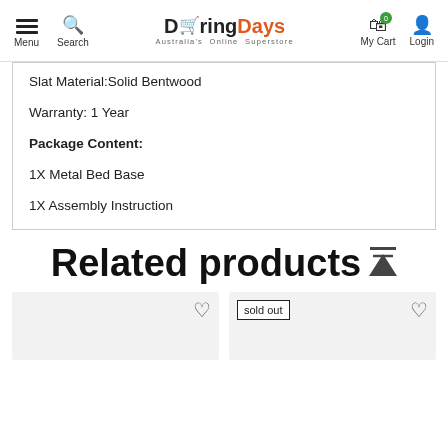Menu Search Döring Days Australia's Online Superstore My Cart Login
Slat Material:Solid Bentwood
Warranty: 1 Year
Package Content:
1X Metal Bed Base
1X Assembly Instruction
Related products
[Figure (other): Two product cards with wishlist heart icons; second card has a 'sold out' badge]